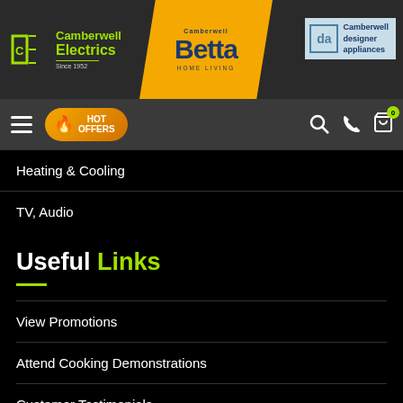Camberwell Electrics | Betta Home Living | Camberwell Designer Appliances
HOT OFFERS
Heating & Cooling
TV, Audio
Useful Links
View Promotions
Attend Cooking Demonstrations
Customer Testimonials